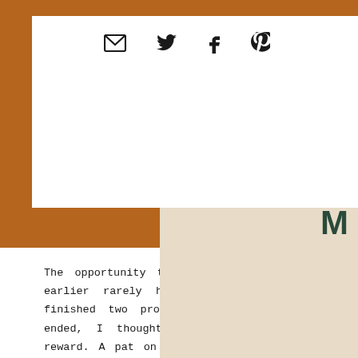[Figure (photo): Top portion of the page showing a blog post layout with social sharing icons (email, Twitter, Facebook, Pinterest) overlaid on a white box, with a pizza box visible in the background (brown/wooden frame and beige box with dark green lettering).]
The opportunity to leave the workplace earlier rarely happens. Given that I finished two projects before the week ended, I thought I deserve a little reward. A pat on the back? It would be really nice to receive one. Since it rarely or never happens, I might as well implement my own reward system. :) In the middle of the week, I was successful in tagging my dearest friend A to try a new place. I have been hearing nice reviews among friends and colleagues about Mad for Pizza. Everyone was attracted to their DIY pizza. I haven't tried Project Pie and any of those similar restaurants. So I guess Mad for Pizza